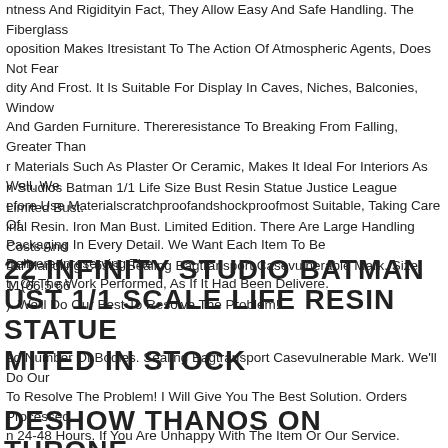ntness And Rigidityin Fact, They Allow Easy And Safe Handling. The Fiberglass oposition Makes Itresistant To The Action Of Atmospheric Agents, Does Not Fear dity And Frost. It Is Suitable For Display In Caves, Niches, Balconies, Window And Garden Furniture. Thereresistance To Breaking From Falling, Greater Than r Materials Such As Plaster Or Ceramic, Makes It Ideal For Interiors As Well. We efore Use Materialscratchproofandshockproofmost Suitable, Taking Care Of Packaging In Every Detail. We Want Each Item To Be Deliveredpreserving The ty Of The Work Performed, As If It Had Been Delivere.
n Studios Batman 1/1 Life Size Bust Resin Statue Justice League Limited Bust. irial Resin. Iron Man Bust. Limited Edition. There Are Large Handling Costs And ual Handling Costs. Sealing Bagtransport Casevulnerable Mark. Size 11(66.5 66 ). We'll Do Our Best To Resolve The Problem!
22 INFINITY STUDIO BATMAN UST 1/1 SCALE LIFE RESIN STATUE MITED IN STOCK
ed Number Of Bodies. Sealing Bagtransport Casevulnerable Mark. We'll Do Our To Resolve The Problem! I Will Give You The Best Solution. Orders Processed n 24-48 Hours. If You Are Unhappy With The Item Or Our Service.
DESHOW THANOS ON THRONE ABOUT THE 1/4 STATUE LIMITED TO